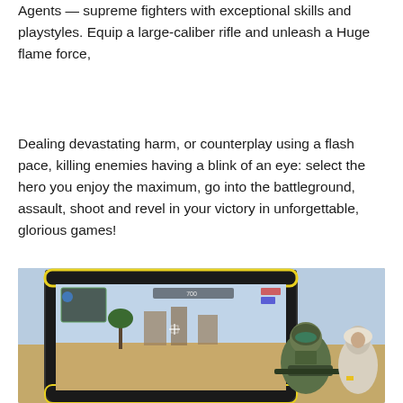Agents — supreme fighters with exceptional skills and playstyles. Equip a large-caliber rifle and unleash a Huge flame force,
Dealing devastating harm, or counterplay using a flash pace, killing enemies having a blink of an eye: select the hero you enjoy the maximum, go into the battleground, assault, shoot and revel in your victory in unforgettable, glorious games!
[Figure (screenshot): Screenshot of a mobile shooter game displayed on a smartphone with a yellow-accented black frame. The game scene shows a desert battlefield with palm trees, stone walls, and two characters in tactical gear — one wearing a green helmet with goggles in the foreground and another in white robes to the right. A HUD with a crosshair and game UI elements is visible on screen.]